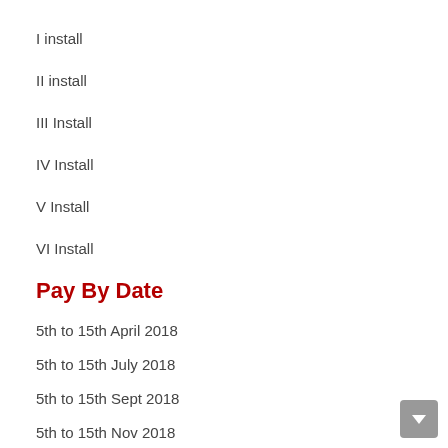I install
II install
III Install
IV Install
V Install
VI Install
Pay By Date
5th to 15th April 2018
5th to 15th July 2018
5th to 15th Sept 2018
5th to 15th Nov 2018
5th to 15th Jan 2019
5th to 15th Feb 2019